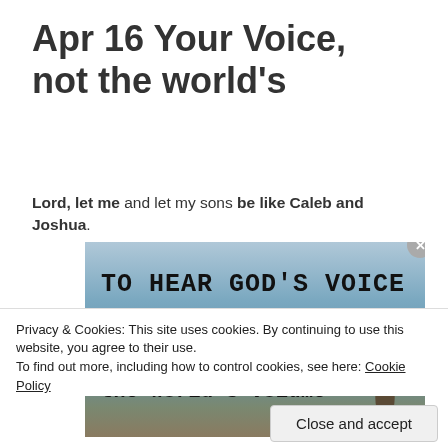Apr 16 Your Voice, not the world's
Lord, let me and let my sons be like Caleb and Joshua.
[Figure (photo): Photo of water/lake with overlaid text: 'TO HEAR GOD'S VOICE you must turn down the world's volume', with a bird silhouette at the lower right]
Privacy & Cookies: This site uses cookies. By continuing to use this website, you agree to their use. To find out more, including how to control cookies, see here: Cookie Policy
Close and accept